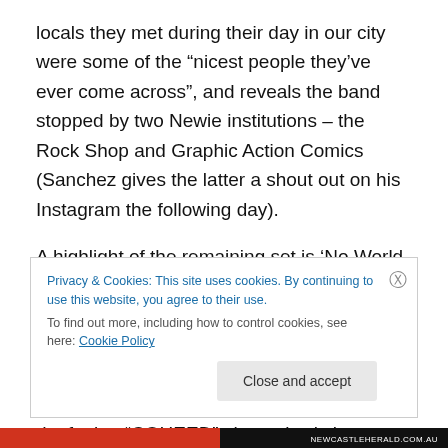locals they met during their day in our city were some of the “nicest people they’ve ever come across”, and reveals the band stopped by two Newie institutions – the Rock Shop and Graphic Action Comics (Sanchez gives the latter a shout out on his Instagram the following day).
A highlight of the remaining set is ‘No World for Tomorrow’, one of the band’s finest tracks. It’s the ultimate example of the dizzying rock heights of which the band are capable of reaching. Soon after, when the rockers eventually leave the stage, a deafening “COHEED” chant slowly lures them
Privacy & Cookies: This site uses cookies. By continuing to use this website, you agree to their use.
To find out more, including how to control cookies, see here: Cookie Policy